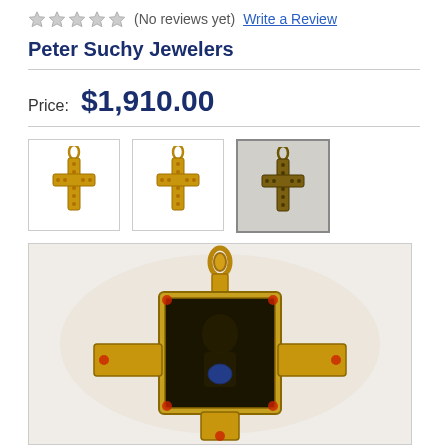★★★★★ (No reviews yet)  Write a Review
Peter Suchy Jewelers
Price:  $1,910.00
[Figure (photo): Three thumbnail images of gold cross pendants; first two are bright gold finish, third is darker/antique finish]
[Figure (photo): Large main product image of a gold Byzantine-style cross pendant with ornate detailing, shown close-up with blurred background]